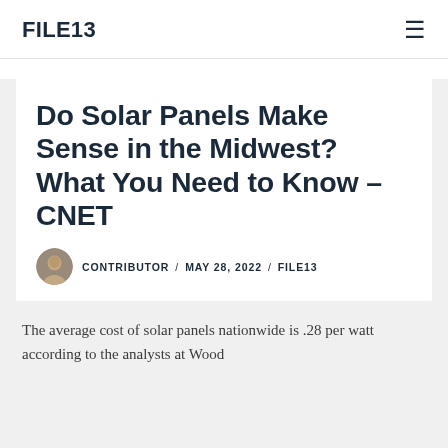FILE13
Do Solar Panels Make Sense in the Midwest? What You Need to Know – CNET
CONTRIBUTOR / MAY 28, 2022 / FILE13
The average cost of solar panels nationwide is .28 per watt according to the analysts at Wood